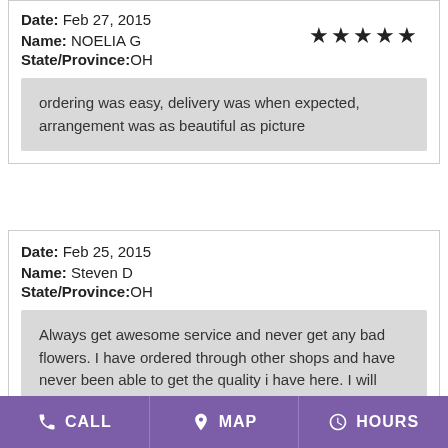Date: Feb 27, 2015
Name: NOELIA G
State/Province:OH
★★★★★ (5 stars)
ordering was easy, delivery was when expected, arrangement was as beautiful as picture
Date: Feb 25, 2015
Name: Steven D
State/Province:OH
★★★★★ (5 stars)
Always get awesome service and never get any bad flowers. I have ordered through other shops and have never been able to get the quality i have here. I will never go
CALL   MAP   HOURS